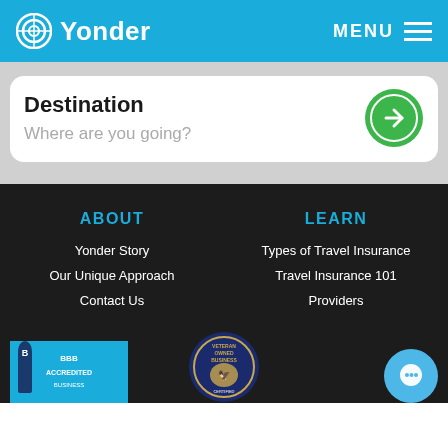Yonder — MENU
Destination
Where are you going?
ABOUT
Yonder Story
Our Unique Approach
Contact Us
LEARN
Types of Travel Insurance
Travel Insurance 101
Providers
[Figure (logo): BBB Accredited badge]
[Figure (logo): Veteran Owned Business seal]